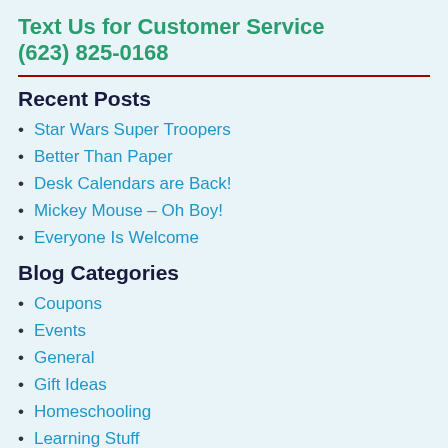Text Us for Customer Service
(623) 825-0168
Recent Posts
Star Wars Super Troopers
Better Than Paper
Desk Calendars are Back!
Mickey Mouse – Oh Boy!
Everyone Is Welcome
Blog Categories
Coupons
Events
General
Gift Ideas
Homeschooling
Learning Stuff